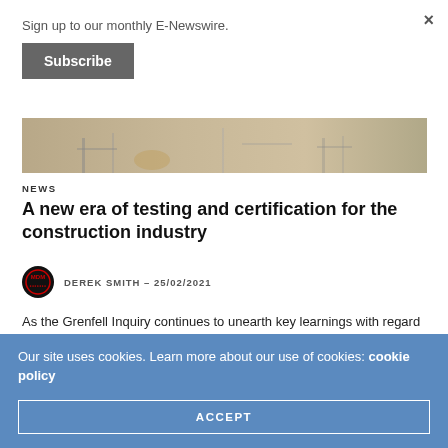Sign up to our monthly E-Newswire.
Subscribe
[Figure (photo): Partial view of a construction site showing workers and equipment on concrete surface.]
NEWS
A new era of testing and certification for the construction industry
DEREK SMITH – 25/02/2021
As the Grenfell Inquiry continues to unearth key learnings with regard to the inadequate testing and certification of building products, particularly in relation to fire integrity solutions, the formation of the
Our site uses cookies. Learn more about our use of cookies: cookie policy
ACCEPT